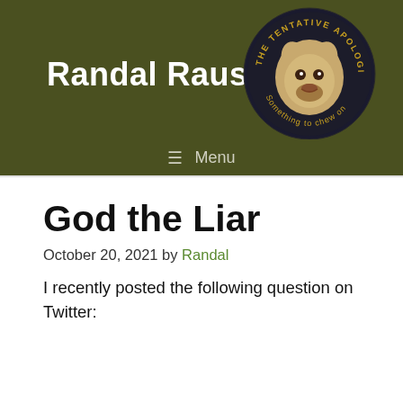Randal Rauser
[Figure (logo): The Tentative Apologist circular logo featuring a small fluffy dog with text 'THE TENTATIVE APOLOGIST' around the top and 'Something to chew on' around the bottom]
Menu
God the Liar
October 20, 2021 by Randal
I recently posted the following question on Twitter: